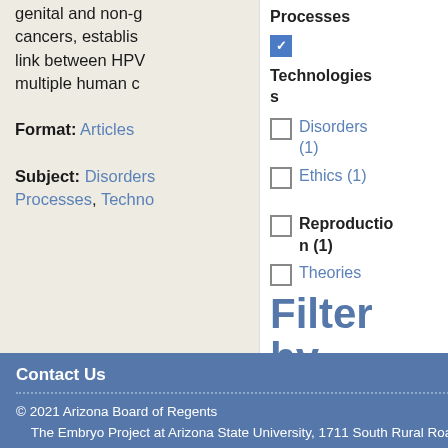genital and non-g cancers, establis link between HPV multiple human c
Format: Articles
Subject: Disorders Processes, Techno
Processes
☑ Technologies
☐ Disorders (1)
☐ Ethics (1)
☐ Reproduction (1)
☐ Theories (1)
Filter by Form
Contact Us
© 2021 Arizona Board of Regents
The Embryo Project at Arizona State University, 1711 South Rural Road, Tempe Arizona 85287, United States